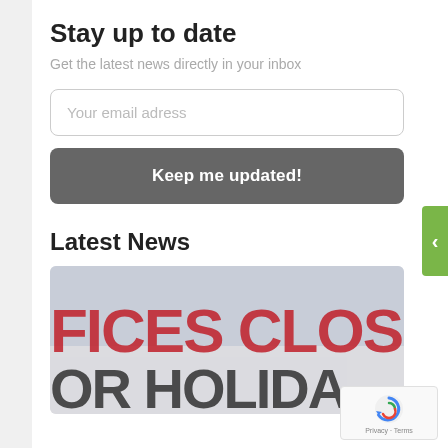Stay up to date
Get the latest news directly in your inbox
Your email adress
Keep me updated!
Latest News
[Figure (photo): Blurred photo of a sign reading 'OFFICES CLOSED FOR HOLIDAY' with red and black letters on white background]
[Figure (logo): reCAPTCHA logo with Privacy and Terms links]